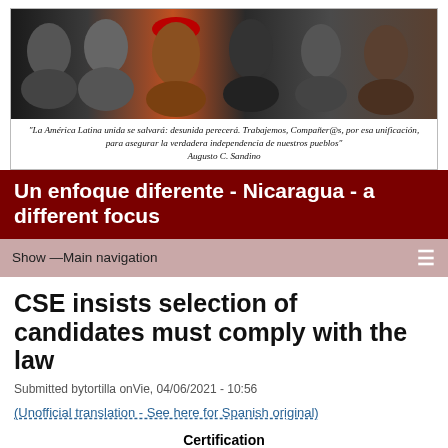[Figure (photo): Banner photo collage of Latin American political figures including Che Guevara, Hugo Chavez, Fidel Castro, and others in black and white and color.]
"La América Latina unida se salvará: desunida perecerá. Trabajemos, Compañer@s, por esa unificación, para asegurar la verdadera independencia de nuestros pueblos" Augusto C. Sandino
Un enfoque diferente - Nicaragua - a different focus
Show —Main navigation
CSE insists selection of candidates must comply with the law
Submitted bytortilla onVie, 04/06/2021 - 10:56
(Unofficial translation - See here for Spanish original)
Certification
The undersigned Secretary of Actions of the Supreme Electoral Council, certifies that, by virtue of the Power of Convocation...